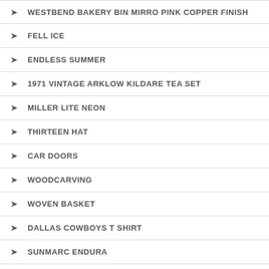WESTBEND BAKERY BIN MIRRO PINK COPPER FINISH
FELL ICE
ENDLESS SUMMER
1971 VINTAGE ARKLOW KILDARE TEA SET
MILLER LITE NEON
THIRTEEN HAT
CAR DOORS
WOODCARVING
WOVEN BASKET
DALLAS COWBOYS T SHIRT
SUNMARC ENDURA